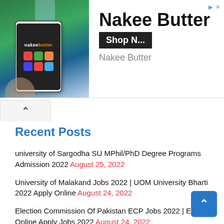[Figure (infographic): Advertisement banner for Nakee Butter showing a phone with app icons over a nature background, with the text 'Nakee Butter', 'Shop N...', and 'Nakee Butter']
university of Sargodha SU MPhil/PhD Degree Programs Admission 2022 August 25, 2022
University of Malakand Jobs 2022 | UOM University Bharti 2022 Apply Online August 24, 2022
Election Commission Of Pakistan ECP Jobs 2022 | ECP Online Apply Jobs 2022 August 24, 2022
Woman University Jobs 2022 | WU mardan Bharti 2022 application Form August 24, 2022
Children Hospital Karachi Vacancies 2022 | Health